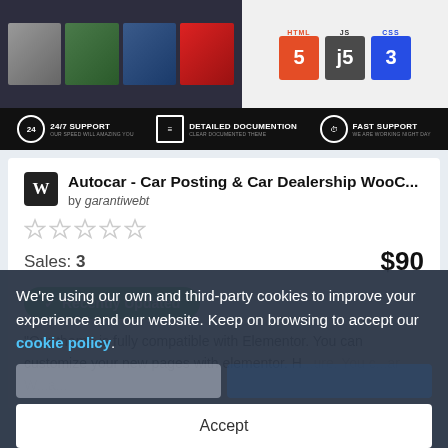[Figure (screenshot): Top banner with car thumbnails on left and HTML5/JS/CSS3 tech icons on right]
[Figure (screenshot): Support bar with 24/7 Support, Detailed Documentation, and Fast Support icons on dark background]
Autocar - Car Posting & Car Dealership WooC...
by garantiwebt
[Figure (other): 5 empty star rating icons]
Sales: 3
$90
✓ Recently Updated
"Our theme is fully compatible with Elementor. You can customize your new pages with elementor. H...ure. You c...ar W...a...
We're using our own and third-party cookies to improve your experience and our website. Keep on browsing to accept our cookie policy.
Accept